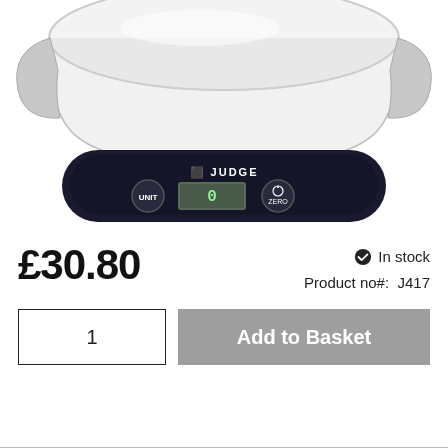[Figure (photo): Product photo of a Judge brand digital kitchen scale with a clear glass/acrylic bowl on top. The scale is black with a digital display showing zero, a UNIT button on the left, and a ZERO/power button on the right. The JUDGE logo is visible on the front.]
£30.80
✔ In stock
Product no#: J417
1
Add to Basket